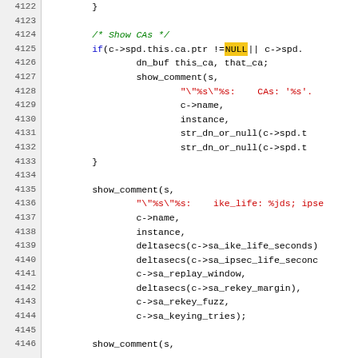[Figure (screenshot): Source code viewer showing C code lines 4122-4146 with line numbers on left, syntax highlighting including green italic comments, red strings, blue keywords, and yellow highlighted NULL keyword.]